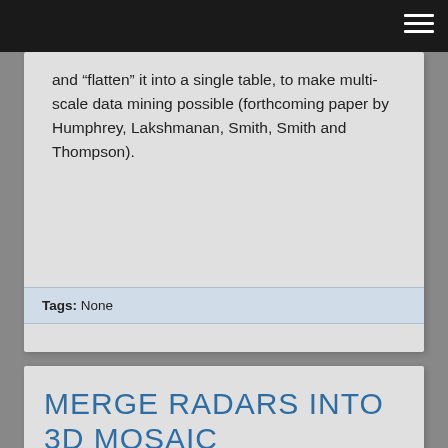and “flatten” it into a single table, to make multi-scale data mining possible (forthcoming paper by Humphrey, Lakshmanan, Smith, Smith and Thompson).
Tags: None
MERGE RADARS INTO 3D MOSAIC
Posted in Tips on July 3, 2014 by Lak.